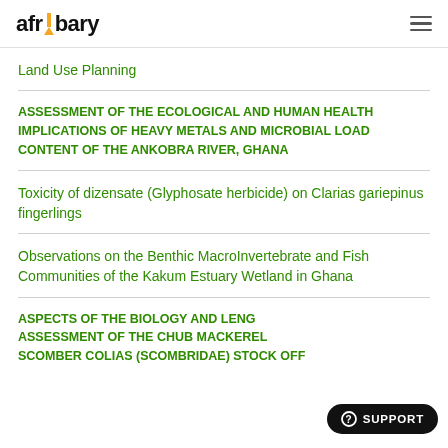afribary [logo]
Land Use Planning
ASSESSMENT OF THE ECOLOGICAL AND HUMAN HEALTH IMPLICATIONS OF HEAVY METALS AND MICROBIAL LOAD CONTENT OF THE ANKOBRA RIVER, GHANA
Toxicity of dizensate (Glyphosate herbicide) on Clarias gariepinus fingerlings
Observations on the Benthic MacroInvertebrate and Fish Communities of the Kakum Estuary Wetland in Ghana
ASPECTS OF THE BIOLOGY AND LENGTH ASSESSMENT OF THE CHUB MACKEREL SCOMBER COLIAS (SCOMBRIDAE) STOCK OFF